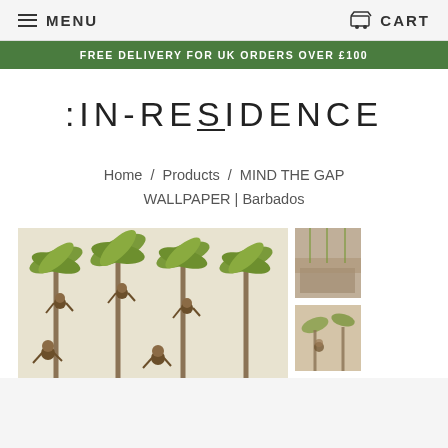MENU   CART
FREE DELIVERY FOR UK ORDERS OVER £100
:IN-RESIDENCE
Home / Products / MIND THE GAP WALLPAPER | Barbados
[Figure (photo): Main product image showing tropical wallpaper pattern with palm trees and monkeys in green and tan colors]
[Figure (photo): Thumbnail 1: wallpaper in a room setting]
[Figure (photo): Thumbnail 2: close-up of wallpaper pattern]